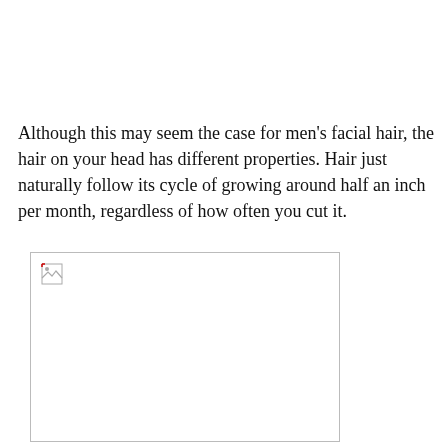Although this may seem the case for men's facial hair, the hair on your head has different properties. Hair just naturally follow its cycle of growing around half an inch per month, regardless of how often you cut it.
[Figure (photo): A broken/missing image placeholder showing a small broken image icon in the top-left corner of an empty white rectangle with a light border.]